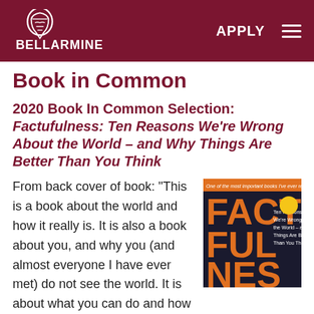BELLARMINE | APPLY
Book in Common
2020 Book In Common Selection: Factufulness: Ten Reasons We’re Wrong About the World – and Why Things Are Better Than You Think
From back cover of book: “This is a book about the world and how it really is. It is also a book about you, and why you (and almost everyone I have ever met) do not see the world. It is about what you can do and how this will make you feel more positive, less
[Figure (photo): Book cover of Factufulness by Hans Rosling, showing large orange text FACTFULNESS on a dark background]